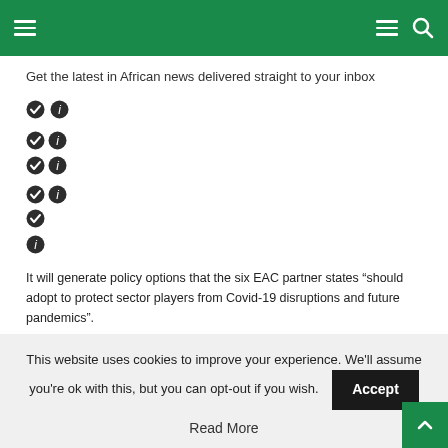Navigation header bar with menu and search icons
Get the latest in African news delivered straight to your inbox
[Figure (other): Rows of circular check and info icons (form toggle controls)]
It will generate policy options that the six EAC partner states “should adopt to protect sector players from Covid-19 disruptions and future pandemics”.
The project also aims to leverage the private sector’s technical and resource
This website uses cookies to improve your experience. We’ll assume you’re ok with this, but you can opt-out if you wish.
Accept
Read More